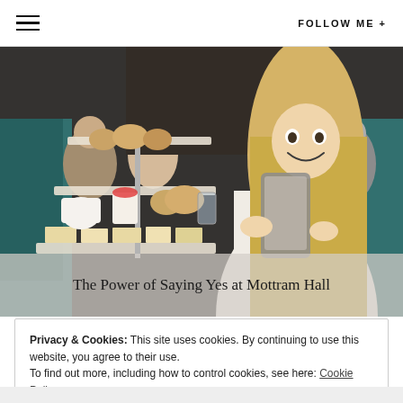≡  FOLLOW ME +
[Figure (photo): A smiling blonde woman photographing a tiered afternoon tea stand with pastries and desserts at a restaurant, with other diners in the background]
The Power of Saying Yes at Mottram Hall
Privacy & Cookies: This site uses cookies. By continuing to use this website, you agree to their use. To find out more, including how to control cookies, see here: Cookie Policy
Close and accept